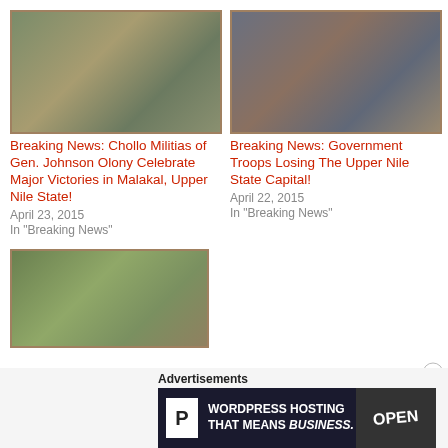[Figure (photo): Chollo militia soldiers in the field, outdoor scene with trees]
Breaking News: Chollo Militias of Gen. Johnson Olony Celebrate Major Victories in Malakal, Upper Nile State!
April 23, 2015
In "Breaking News"
[Figure (photo): Government troops with red berets, armed soldiers grouped together]
Breaking News: Government Troops Losing The Upper Nile State Capital!
April 22, 2015
In "Breaking News"
[Figure (photo): Military officer in front of helicopter, camouflage uniform with beret]
Advertisements
[Figure (screenshot): WordPress Hosting advertisement banner: P icon, text WORDPRESS HOSTING THAT MEANS BUSINESS., OPEN sign on right]